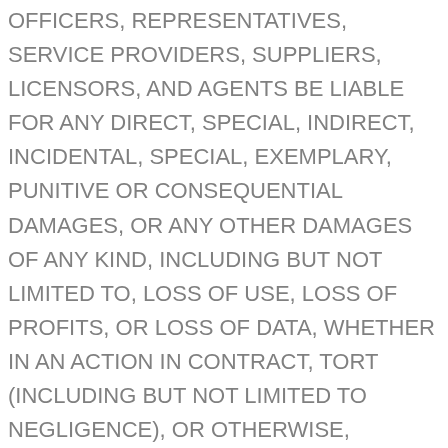OFFICERS, REPRESENTATIVES, SERVICE PROVIDERS, SUPPLIERS, LICENSORS, AND AGENTS BE LIABLE FOR ANY DIRECT, SPECIAL, INDIRECT, INCIDENTAL, SPECIAL, EXEMPLARY, PUNITIVE OR CONSEQUENTIAL DAMAGES, OR ANY OTHER DAMAGES OF ANY KIND, INCLUDING BUT NOT LIMITED TO, LOSS OF USE, LOSS OF PROFITS, OR LOSS OF DATA, WHETHER IN AN ACTION IN CONTRACT, TORT (INCLUDING BUT NOT LIMITED TO NEGLIGENCE), OR OTHERWISE, ARISING OUT OF OR IN ANY WAY CONNECTED WITH (i) THE USE OR INABILITY TO USE THE SITES OR THE CONTENT, MATERIALS, SOFTWARE, INFORMATION OR TRANSACTIONS PROVIDED ON OR THROUGH THE SITES, OR (ii) ANY CLAIM ATTRIBUTABLE TO ERRORS